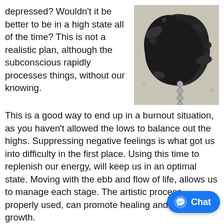depressed? Wouldn't it be better to be in a high state all of the time? This is not a realistic plan, although the subconscious rapidly processes things, without our knowing.
[Figure (photo): Black ink splatter artwork on light background with chain or droplets hanging down from the dark mass]
This is a good way to end up in a burnout situation, as you haven't allowed the lows to balance out the highs. Suppressing negative feelings is what got us into difficulty in the first place. Using this time to replenish our energy, will keep us in an optimal state. Moving with the ebb and flow of life, allows us to manage each stage. The artistic process, properly used, can promote healing and spiritual growth.
It is important to create awareness around the come up, while being able to step outside those Ruskan suggests we observe them from a 'witness'